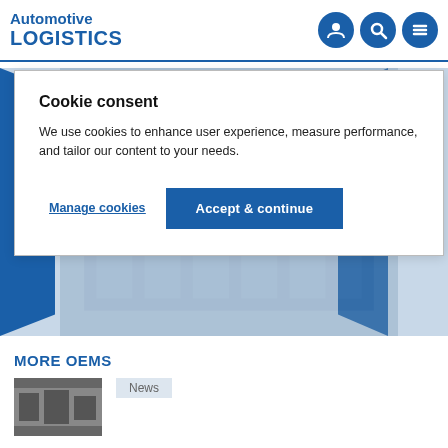Automotive LOGISTICS
Cookie consent
We use cookies to enhance user experience, measure performance, and tailor our content to your needs.
Manage cookies
Accept & continue
[Figure (screenshot): Automotive Logistics Careers promotional banner with blue geometric shapes and industrial background image]
MORE OEMS
News